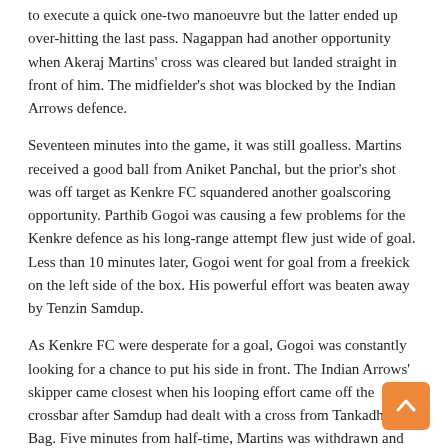to execute a quick one-two manoeuvre but the latter ended up over-hitting the last pass. Nagappan had another opportunity when Akeraj Martins' cross was cleared but landed straight in front of him. The midfielder's shot was blocked by the Indian Arrows defence.
Seventeen minutes into the game, it was still goalless. Martins received a good ball from Aniket Panchal, but the prior's shot was off target as Kenkre FC squandered another goalscoring opportunity. Parthib Gogoi was causing a few problems for the Kenkre defence as his long-range attempt flew just wide of goal. Less than 10 minutes later, Gogoi went for goal from a freekick on the left side of the box. His powerful effort was beaten away by Tenzin Samdup.
As Kenkre FC were desperate for a goal, Gogoi was constantly looking for a chance to put his side in front. The Indian Arrows' skipper came closest when his looping effort came off the crossbar after Samdup had dealt with a cross from Tankadhar Bag. Five minutes from half-time, Martins was withdrawn and replaced by Kynsailang Khongsit. In the final minute of the first half, Khongsit played a promising cross into the box but Pravitto Raju's header from close range was off target.